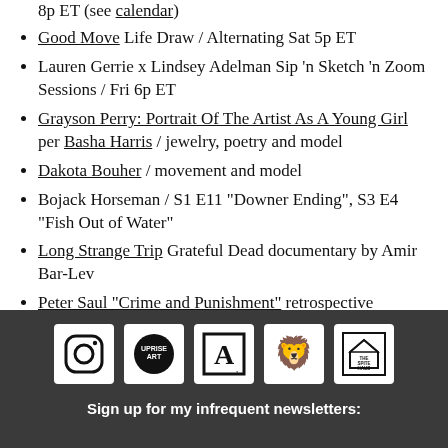8p ET (see calendar)
Good Move Life Draw / Alternating Sat 5p ET
Lauren Gerrie x Lindsey Adelman Sip 'n Sketch 'n Zoom Sessions / Fri 6p ET
Grayson Perry: Portrait Of The Artist As A Young Girl per Basha Harris / jewelry, poetry and model
Dakota Bouher / movement and model
Bojack Horseman / S1 E11 "Downer Ending", S3 E4 "Fish Out of Water"
Long Strange Trip Grateful Dead documentary by Amir Bar-Lev
Peter Saul "Crime and Punishment" retrospective presented by the New Museum
[Figure (logo): Row of five logos on dark background: Instagram icon, Uprise Art logo, A logo, animal/sphinx logo, The Spite Haus logo]
Sign up for my infrequent newsletters: